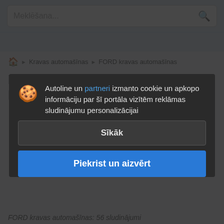Meklēšana...
Kravas automašīnas › FORD kravas automašīnas
FORD kravas automašīnas no Eiropas
Autoline un partneri izmanto cookie un apkopo informāciju par šī portāla vizītēm reklāmas sludinājumu personalizācijai
Sīkāk
Piekrist un aizvērt
FORD kravas automašīnas: 56 sludinājumi